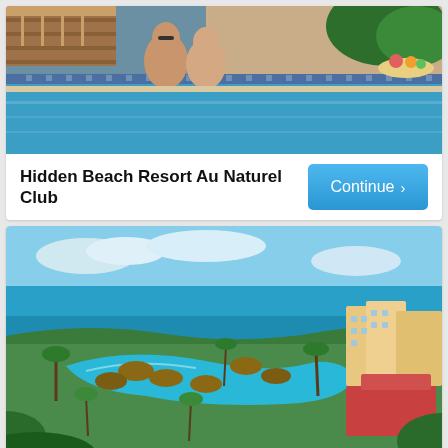[Figure (photo): Couple in an infinity pool at a tropical resort, wooden deck and palm trees in background]
Hidden Beach Resort Au Naturel Club
[Figure (photo): Aerial view of a large tropical resort with a large lagoon pool, thatched-roof bungalows, palm trees, and ocean in the background — Iberostar Paraiso Maya]
Iberostar Paraiso Maya